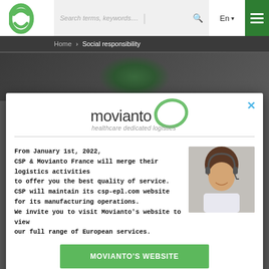[Figure (screenshot): Website screenshot showing CSP logo, search bar, language selector (En), hamburger menu in green, breadcrumb navigation 'Home > Social responsibility', hero image background, and a modal popup for Movianto healthcare dedicated logistics]
Home > Social responsibility
[Figure (logo): Movianto logo with green swoosh/oval graphic and tagline 'healthcare dedicated logistics']
From January 1st, 2022,
CSP & Movianto France will merge their logistics activities to offer you the best quality of service.
CSP will maintain its csp-epl.com website for its manufacturing operations.
We invite you to visit Movianto's website to view our full range of European services.
[Figure (photo): Photo of a smiling woman wearing a headset, customer service representative]
MOVIANTO'S WEBSITE
security at work.
It is a long term exercise to make each one responsible for their daily work